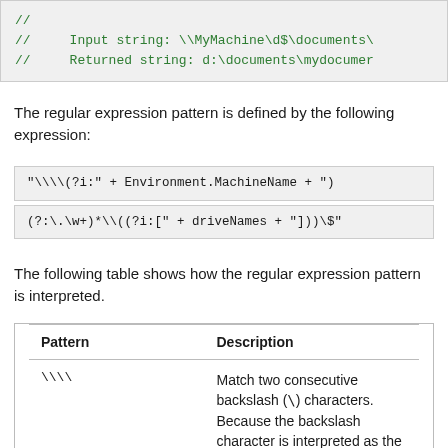[Figure (screenshot): Code block showing commented lines: // and // Input string: \\MyMachine\d$\documents\ and // Returned string: d:\documents\mydocumer]
The regular expression pattern is defined by the following expression:
The following table shows how the regular expression pattern is interpreted.
| Pattern | Description |
| --- | --- |
| \\\\ | Match two consecutive backslash (\) characters. Because the backslash character is interpreted as the escape character, each |